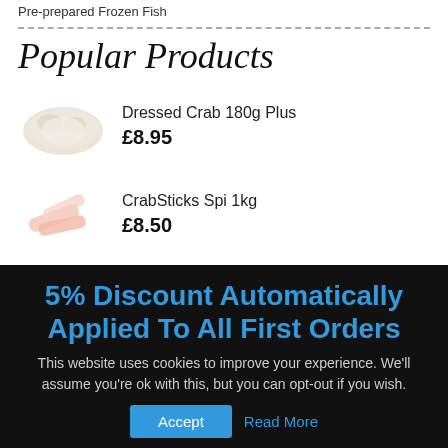Pre-prepared Frozen Fish
Popular Products
Dressed Crab 180g Plus
£8.95
CrabSticks Spi 1kg
£8.50
5% Discount Automatically Applied To All First Orders
This website uses cookies to improve your experience. We'll assume you're ok with this, but you can opt-out if you wish.
Accept
Read More